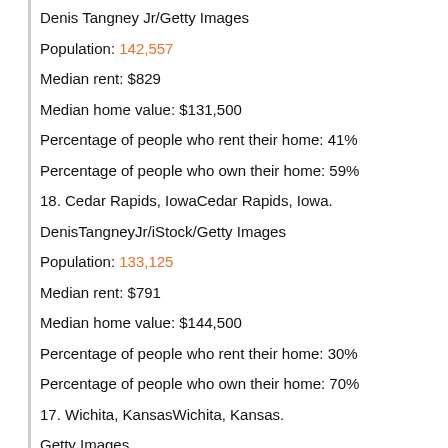Denis Tangney Jr/Getty Images
Population: 142,557
Median rent: $829
Median home value: $131,500
Percentage of people who rent their home: 41%
Percentage of people who own their home: 59%
18. Cedar Rapids, IowaCedar Rapids, Iowa.
DenisTangneyJr/iStock/Getty Images
Population: 133,125
Median rent: $791
Median home value: $144,500
Percentage of people who rent their home: 30%
Percentage of people who own their home: 70%
17. Wichita, KansasWichita, Kansas.
Getty Images